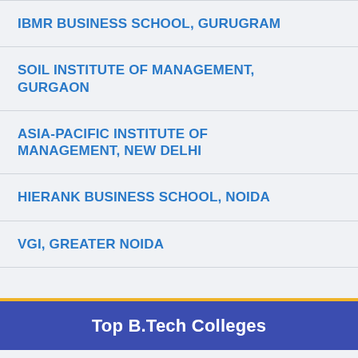IBMR BUSINESS SCHOOL, GURUGRAM
SOIL INSTITUTE OF MANAGEMENT, GURGAON
ASIA-PACIFIC INSTITUTE OF MANAGEMENT, NEW DELHI
HIERANK BUSINESS SCHOOL, NOIDA
VGI, GREATER NOIDA
Top B.Tech Colleges
TY UNIVERSITY, NOIDA